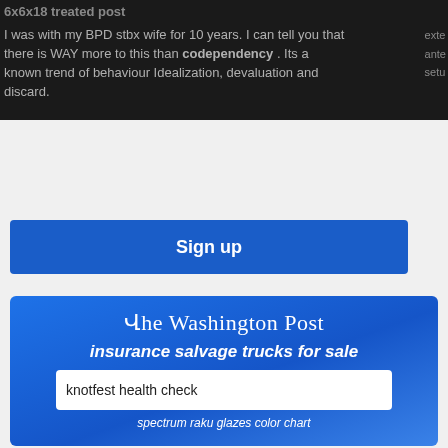6x6x18 treated post
I was with my BPD stbx wife for 10 years. I can tell you that there is WAY more to this than codependency . Its a known trend of behaviour Idealization, devaluation and discard.
[Figure (other): Blue Sign up button]
[Figure (other): Washington Post branded search widget with subtitle 'insurance salvage trucks for sale' and search field containing 'knotfest health check', footer text 'spectrum raku glazes color chart']
undertale sprite base